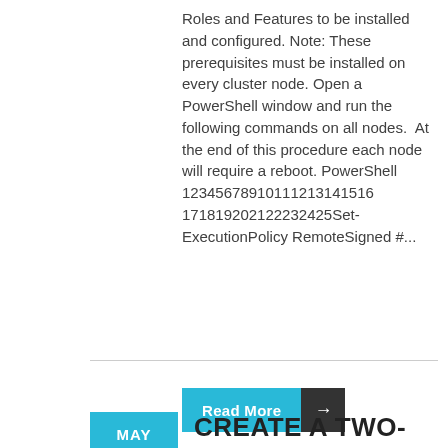Roles and Features to be installed and configured. Note: These prerequisites must be installed on every cluster node. Open a PowerShell window and run the following commands on all nodes.  At the end of this procedure each node will require a reboot. PowerShell 12345678910111213141516 17181920212223242 5Set-ExecutionPolicy RemoteSigned #...
[Figure (other): Read More button with cyan background and dark arrow box]
CREATE A TWO-